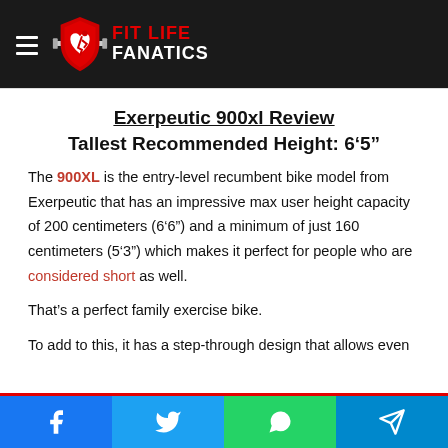FIT LIFE FANATICS
Exerpeutic 900xl Review
Tallest Recommended Height: 6‘5”
The 900XL is the entry-level recumbent bike model from Exerpeutic that has an impressive max user height capacity of 200 centimeters (6‘6”) and a minimum of just 160 centimeters (5‘3”) which makes it perfect for people who are considered short as well.
That’s a perfect family exercise bike.
To add to this, it has a step-through design that allows even
Facebook | Twitter | WhatsApp | Telegram